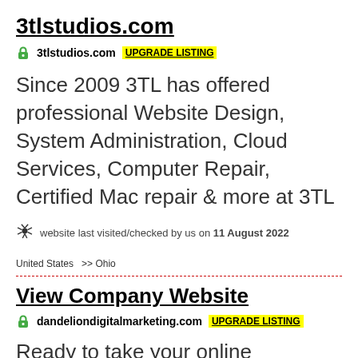3tlstudios.com
3tlstudios.com  UPGRADE LISTING
Since 2009 3TL has offered professional Website Design, System Administration, Cloud Services, Computer Repair, Certified Mac repair & more at 3TL
website last visited/checked by us on 11 August 2022
United States  >> Ohio
View Company Website
dandeliondigitalmarketing.com  UPGRADE LISTING
Ready to take your online presence to the next